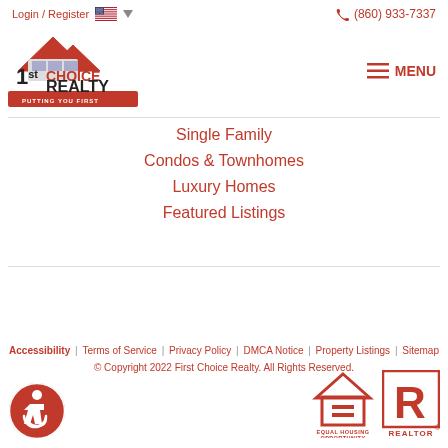Login / Register  (860) 933-7337
[Figure (logo): 1st Choice Realty logo - red house roof with text '1st CHOICE REALTY PUTTING YOU FIRST']
Single Family
Condos & Townhomes
Luxury Homes
Featured Listings
Accessibility | Terms of Service | Privacy Policy | DMCA Notice | Property Listings | Sitemap
© Copyright 2022 First Choice Realty. All Rights Reserved.
[Figure (logo): Accessibility icon - wheelchair user in red circle]
[Figure (logo): Equal Housing Opportunity logo]
[Figure (logo): REALTOR logo]